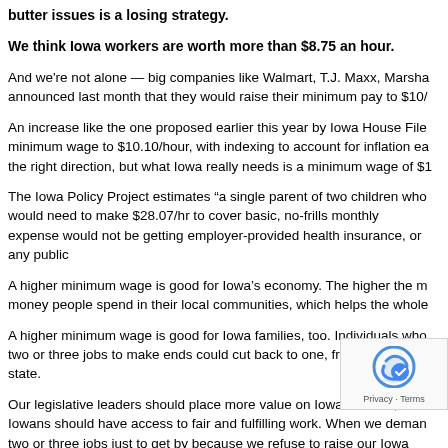butter issues is a losing strategy.
We think Iowa workers are worth more than $8.75 an hour.
And we're not alone — big companies like Walmart, T.J. Maxx, Marsha announced last month that they would raise their minimum pay to $10/
An increase like the one proposed earlier this year by Iowa House File minimum wage to $10.10/hour, with indexing to account for inflation ea the right direction, but what Iowa really needs is a minimum wage of $1
The Iowa Policy Project estimates "a single parent of two children who would need to make $28.07/hr to cover basic, no-frills monthly expense would not be getting employer-provided health insurance, or any public
A higher minimum wage is good for Iowa's economy. The higher the m money people spend in their local communities, which helps the whole
A higher minimum wage is good for Iowa families, too. Individuals who two or three jobs to make ends could cut back to one, freeing up living- state.
Our legislative leaders should place more value on Iowa workers, and Iowans should have access to fair and fulfilling work. When we deman two or three jobs just to get by because we refuse to raise our Iowa values. We all expect time with our families and c should — and it's right.
Iowa needs a living wage, and a minimum wage of $15/hour.